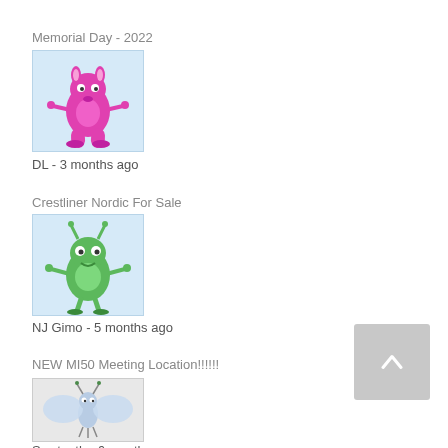Memorial Day - 2022
[Figure (illustration): Pink monster/creature avatar illustration on light blue background]
DL - 3 months ago
Crestliner Nordic For Sale
[Figure (illustration): Green monster/creature avatar illustration on light blue background]
NJ Gimo - 5 months ago
NEW MI50 Meeting Location!!!!!!
[Figure (illustration): Blue butterfly/creature avatar illustration on light background]
Sawtooth - 6 months ago
NEW MI50 Meeting Location!!!!!!
[Figure (photo): Person holding a fish - profile photo]
Mike D - 6 months ago